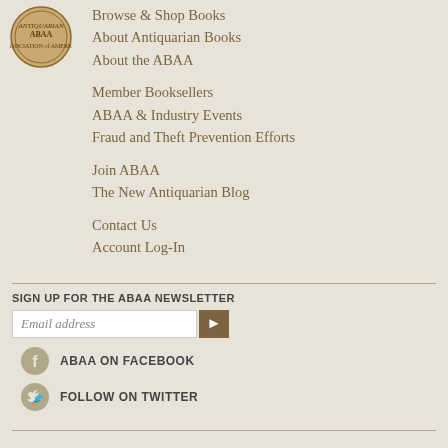[Figure (logo): ABAA circular seal/logo, gold and brown]
Browse & Shop Books
About Antiquarian Books
About the ABAA
Member Booksellers
ABAA & Industry Events
Fraud and Theft Prevention Efforts
Join ABAA
The New Antiquarian Blog
Contact Us
Account Log-In
SIGN UP FOR THE ABAA NEWSLETTER
Email address
ABAA ON FACEBOOK
FOLLOW ON TWITTER
Parts of this website are the copyright, respectively, of ABAA, Bibliopolis, LLC, and Biblio.com, Inc. All rights reserved.
Terms · Privacy Policy · Accessibility